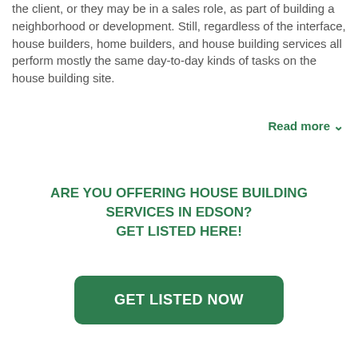the client, or they may be in a sales role, as part of building a neighborhood or development. Still, regardless of the interface, house builders, home builders, and house building services all perform mostly the same day-to-day kinds of tasks on the house building site.
Read more ∨
ARE YOU OFFERING HOUSE BUILDING SERVICES IN EDSON?
GET LISTED HERE!
GET LISTED NOW